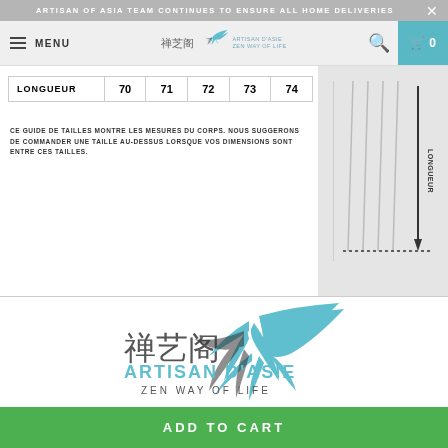ARTISAN OF ASIA TEAM CONTINUES TO ENSURE ALL HOME DELIVERIES
| LONGUEUR | 70 | 71 | 72 | 73 | 74 |
| --- | --- | --- | --- | --- | --- |
CE GUIDE DE TAILLES MONTRE LES MESURES DU CORPS. NOUS SUGGERONS DE COMMANDER UNE TAILLE AU-DESSUS LORSQUE VOS DIMENSIONS SONT ENTRE CES TAILLES.
[Figure (illustration): Diagram showing garment measurement with LONGUEUR arrow indicating length]
[Figure (logo): Artisan D'Asie logo with Chinese characters 禅艺阁, phoenix bird illustration, text ARTISAN D'ASIE ZEN WAY OF LIFE]